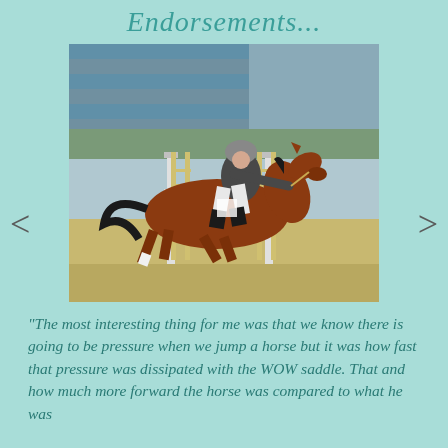Endorsements...
[Figure (photo): A horse and rider jumping over a fence at an equestrian show. The horse is chestnut/bay colored, the rider wears a grey jacket and helmet. Show jumping fence visible, bleachers in background.]
"The most interesting thing for me was that we know there is going to be pressure when we jump a horse but it was how fast that pressure was dissipated with the WOW saddle. That and how much more forward the horse was compared to what he was